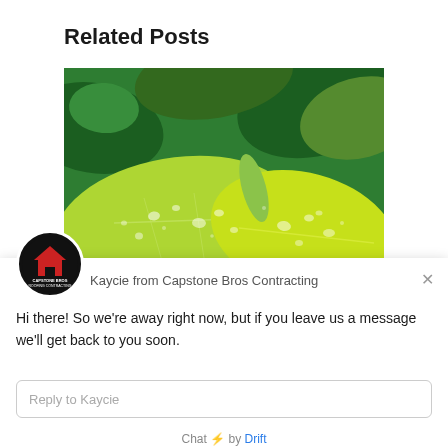Related Posts
[Figure (photo): Close-up photo of green leaves covered with water droplets]
[Figure (screenshot): Chat widget overlay from Drift showing avatar of Capstone Bros Contracting, message from Kaycie, chat input field, and Drift branding footer]